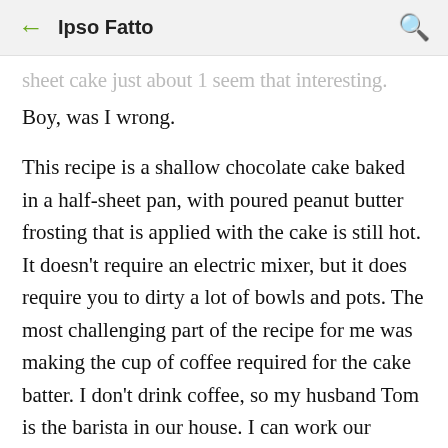Ipso Fatto
sheet cake just about 1 seem that interesting.
Boy, was I wrong.
This recipe is a shallow chocolate cake baked in a half-sheet pan, with poured peanut butter frosting that is applied with the cake is still hot. It doesn't require an electric mixer, but it does require you to dirty a lot of bowls and pots. The most challenging part of the recipe for me was making the cup of coffee required for the cake batter. I don't drink coffee, so my husband Tom is the barista in our house. I can work our Nespresso machine, but we don't own an electric coffee